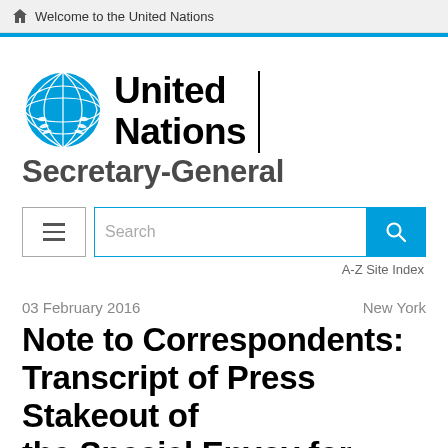Welcome to the United Nations
[Figure (logo): United Nations logo with globe emblem and wordmark 'United Nations' with vertical divider line]
Secretary-General
[Figure (screenshot): Search bar with menu button (hamburger icon), search input field with placeholder 'Search', and blue search button with magnifying glass icon. Below: A-Z Site Index link.]
03 February 2016
New York
Note to Correspondents: Transcript of Press Stakeout of the Special Envoy for Syria